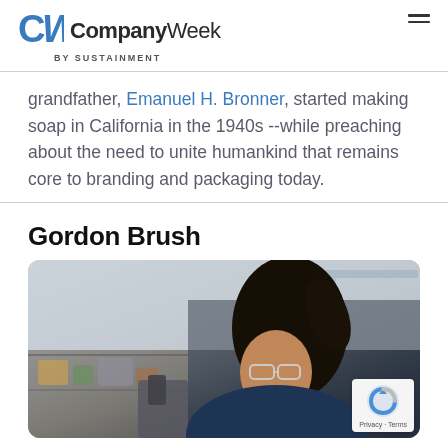CompanyWeek by SUSTAINMENT
grandfather, Emanuel H. Bronner, started making soap in California in the 1940s --while preaching about the need to unite humankind that remains core to branding and packaging today.
Gordon Brush
[Figure (photo): A woman with dark curly hair wearing safety glasses leans over work in a manufacturing/factory environment. Workshop shelving and equipment visible in background.]